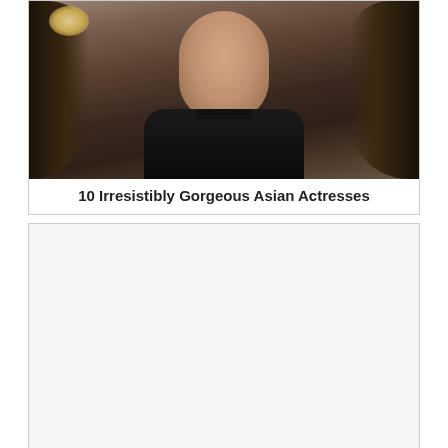[Figure (photo): Photo of a woman with long brown hair wearing a black outfit with decorative detail, styled promotional photo]
10 Irresistibly Gorgeous Asian Actresses
[Figure (other): Advertisement or content card with title: How To Slow Down Female Facial Hair Via Nutrition]
How To Slow Down Female Facial Hair Via Nutrition
Frank Gough Funeral and Obituary arrangements has not been officially released. We are working on getting more